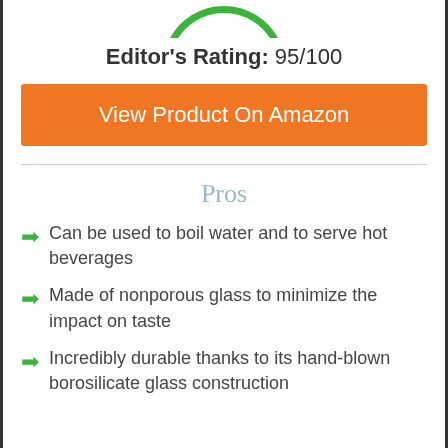[Figure (other): Partial green circle arc at top of page (editor rating badge, cropped)]
Editor's Rating: 95/100
View Product On Amazon
Pros
Can be used to boil water and to serve hot beverages
Made of nonporous glass to minimize the impact on taste
Incredibly durable thanks to its hand-blown borosilicate glass construction